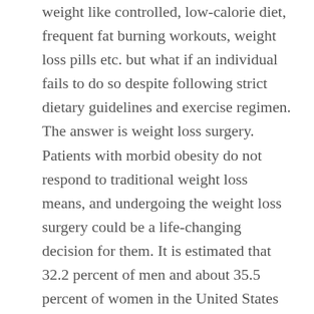weight like controlled, low-calorie diet, frequent fat burning workouts, weight loss pills etc. but what if an individual fails to do so despite following strict dietary guidelines and exercise regimen. The answer is weight loss surgery. Patients with morbid obesity do not respond to traditional weight loss means, and undergoing the weight loss surgery could be a life-changing decision for them. It is estimated that 32.2 percent of men and about 35.5 percent of women in the United States are suffering from obesity. American people spend an estimated $40 billion annually on all types of weight-loss foods, products and programs. A variety of weight loss surgeries, including gastric bypass, Lap-Band, gastric application and gastric sleeve in Sitka Alaska, are increasing in popularity with morbidly obese patients who have tried in vain to lose weight through non-operative